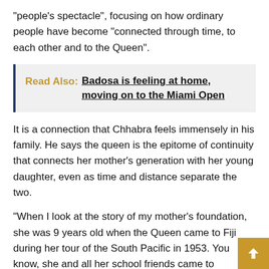“people’s spectacle”, focusing on how ordinary people have become “connected through time, to each other and to the Queen”.
Read Also: Badosa is feeling at home, moving on to the Miami Open
It is a connection that Chhabra feels immensely in his family. He says the queen is the epitome of continuity that connects her mother’s generation with her young daughter, even as time and distance separate the two.
“When I look at the story of my mother’s foundation, she was 9 years old when the Queen came to Fiji during her tour of the South Pacific in 1953. You know, she and all her school friends came to welcome her Flags were waving,” he said. “It’s an